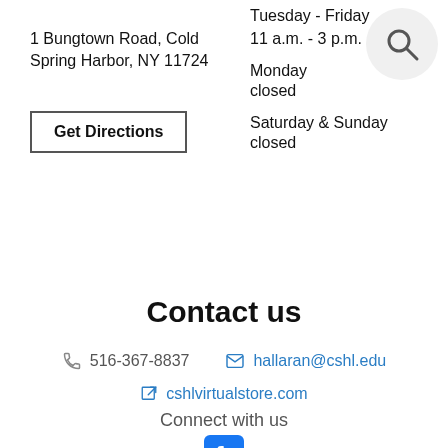1 Bungtown Road, Cold Spring Harbor, NY 11724
Get Directions
Tuesday - Friday
11 a.m. - 3 p.m.
Monday
closed
Saturday & Sunday
closed
Contact us
516-367-8837
hallaran@cshl.edu
cshlvirtualstore.com
Connect with us